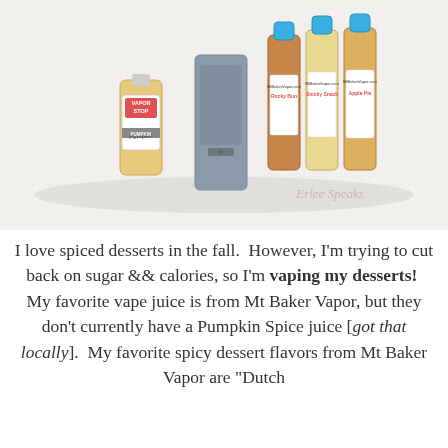[Figure (photo): Photo of vape juice bottles on a white textured surface. On the left is a small bottle labeled 'Vapor Stop' with 'Pumpkin' written on it. In the center is a gray rectangular device. On the right are three tall bottles with blue caps from Mt Baker Vapor. A cursive watermark reads 'Erlee Speaks'.]
I love spiced desserts in the fall.  However, I'm trying to cut back on sugar && calories, so I'm vaping my desserts!  My favorite vape juice is from Mt Baker Vapor, but they don't currently have a Pumpkin Spice juice [got that locally].  My favorite spicy dessert flavors from Mt Baker Vapor are "Dutch